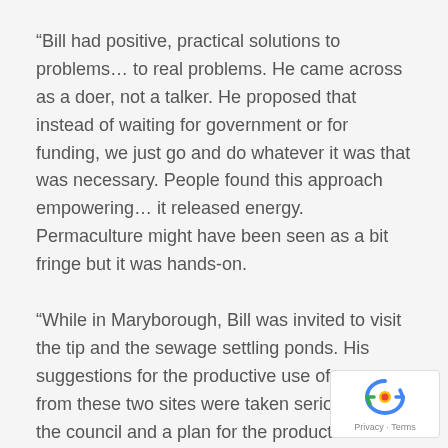“Bill had positive, practical solutions to problems… to real problems. He came across as a doer, not a talker. He proposed that instead of waiting for government or for funding, we just go and do whatever it was that was necessary. People found this approach empowering… it released energy. Permaculture might have been seen as a bit fringe but it was hands-on.
“While in Maryborough, Bill was invited to visit the tip and the sewage settling ponds. His suggestions for the productive use of wastes from these two sites were taken seriously by the council and a plan for the productive use of sewage waste was…